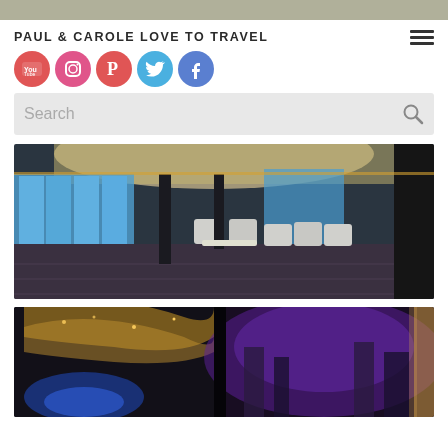PAUL & CAROLE LOVE TO TRAVEL
[Figure (screenshot): Social media icon circles: YouTube (red), Instagram (pink), Pinterest (red), Twitter (blue), Facebook (blue)]
[Figure (screenshot): Search bar with placeholder text 'Search' and magnifying glass icon]
[Figure (photo): Interior of a cruise ship lounge/bar area with patterned carpet, white chairs and tables, panoramic windows showing blue sea, dark ceiling with decorative lighting]
[Figure (photo): Two-panel photo of a cruise ship entertainment area/atrium at night with colorful purple and blue lighting, decorative arched ceiling structures, and modern interior design]